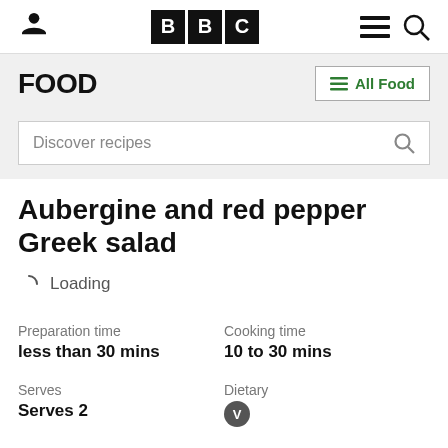BBC Food header navigation with user icon, BBC logo, menu and search icons
FOOD | All Food
Discover recipes
Aubergine and red pepper Greek salad
Loading
Preparation time
less than 30 mins
Cooking time
10 to 30 mins
Serves
Serves 2
Dietary
V